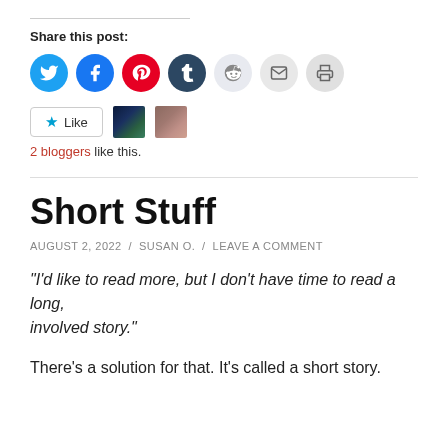Share this post:
[Figure (infographic): Social share icons: Twitter (blue), Facebook (blue), Pinterest (red), Tumblr (dark navy), Reddit (light gray), Email (gray), Print (gray)]
[Figure (infographic): Like button with star icon, followed by two blogger avatar thumbnails]
2 bloggers like this.
Short Stuff
AUGUST 2, 2022 / SUSAN O. / LEAVE A COMMENT
"I'd like to read more, but I don't have time to read a long, involved story."
There's a solution for that. It's called a short story.